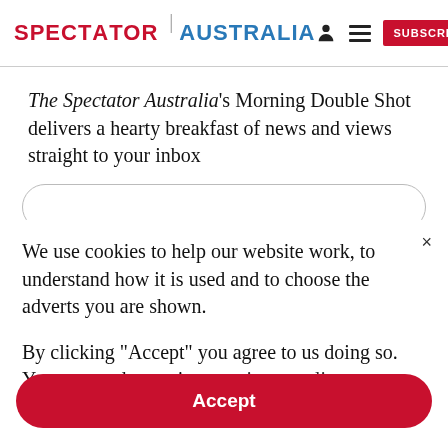SPECTATOR | AUSTRALIA
The Spectator Australia's Morning Double Shot delivers a hearty breakfast of news and views straight to your inbox
We use cookies to help our website work, to understand how it is used and to choose the adverts you are shown.
By clicking "Accept" you agree to us doing so. You can read more in our privacy policy.
Accept